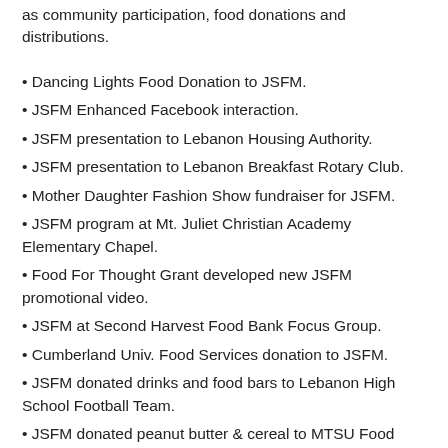as community participation, food donations and distributions.
Dancing Lights Food Donation to JSFM.
JSFM Enhanced Facebook interaction.
JSFM presentation to Lebanon Housing Authority.
JSFM presentation to Lebanon Breakfast Rotary Club.
Mother Daughter Fashion Show fundraiser for JSFM.
JSFM program at Mt. Juliet Christian Academy Elementary Chapel.
Food For Thought Grant developed new JSFM promotional video.
JSFM at Second Harvest Food Bank Focus Group.
Cumberland Univ. Food Services donation to JSFM.
JSFM donated drinks and food bars to Lebanon High School Football Team.
JSFM donated peanut butter & cereal to MTSU Food Bank for students.